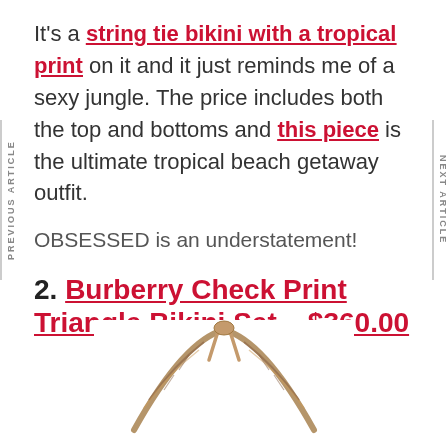It's a string tie bikini with a tropical print on it and it just reminds me of a sexy jungle. The price includes both the top and bottoms and this piece is the ultimate tropical beach getaway outfit.
OBSESSED is an understatement!
2. Burberry Check Print Triangle Bikini Set – $360.00
[Figure (illustration): Top portion of a Burberry check print triangle bikini set, showing the tie top with plaid/check pattern straps against a white background.]